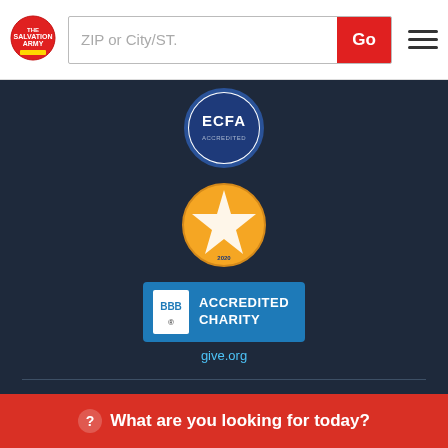[Figure (logo): Salvation Army shield logo (red circle with shield)]
ZIP or City/ST.
[Figure (logo): ECFA Accredited seal badge]
[Figure (logo): GuideStar Gold Seal of Transparency 2020 badge]
[Figure (logo): BBB Accredited Charity badge]
give.org
For donations designated to specific disaster relief and recovery efforts, occasionally, conditions in the field may alter relief activities. If this occurs, The Salvation Army will direct funds to our Internati…
What are you looking for today?